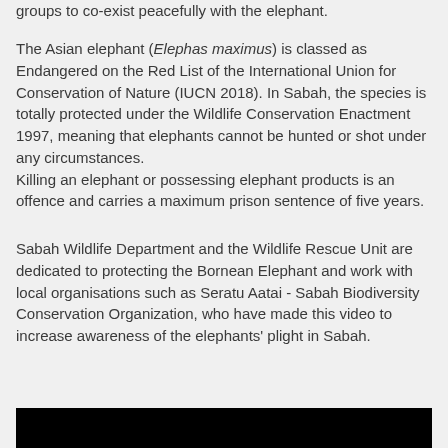groups to co-exist peacefully with the elephant.
The Asian elephant (Elephas maximus) is classed as Endangered on the Red List of the International Union for Conservation of Nature (IUCN 2018). In Sabah, the species is totally protected under the Wildlife Conservation Enactment 1997, meaning that elephants cannot be hunted or shot under any circumstances. Killing an elephant or possessing elephant products is an offence and carries a maximum prison sentence of five years.
Sabah Wildlife Department and the Wildlife Rescue Unit are dedicated to protecting the Bornean Elephant and work with local organisations such as Seratu Aatai - Sabah Biodiversity Conservation Organization, who have made this video to increase awareness of the elephants' plight in Sabah.
[Figure (other): Black bar at the bottom of the page representing a video player or image strip.]